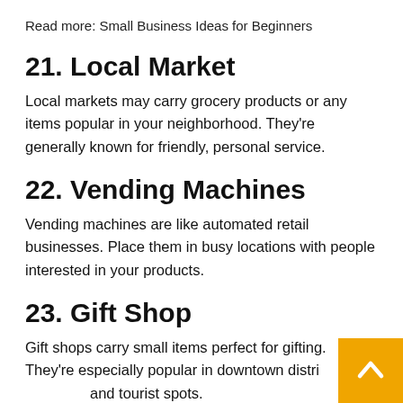Read more: Small Business Ideas for Beginners
21. Local Market
Local markets may carry grocery products or any items popular in your neighborhood. They're generally known for friendly, personal service.
22. Vending Machines
Vending machines are like automated retail businesses. Place them in busy locations with people interested in your products.
23. Gift Shop
Gift shops carry small items perfect for gifting. They're especially popular in downtown districts and tourist spots.